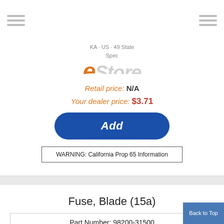KA - US - 49 State Spec | KH - High Altitude Spec | KL - California Spec | eStore parts and accessories
Retail price: N/A
Your dealer price: $3.71
Add
WARNING: California Prop 65 Information
Fuse, Blade (15a)
Part Number: 98200-31500
Mfg. Origin: 'JPN 'USA 'JPN 'USA 'JPN
Emission Types: